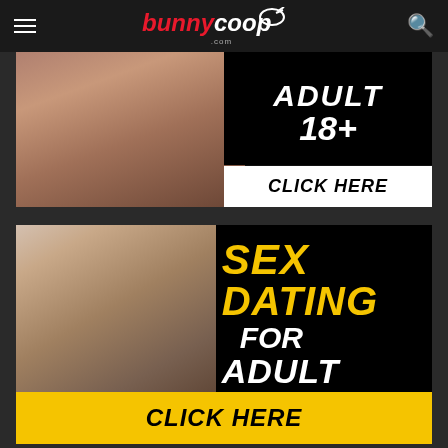bunnycoop.com navigation bar
[Figure (photo): Adult 18+ advertisement banner with CLICK HERE button]
[Figure (photo): Sex Dating For Adult 18+ advertisement banner with CLICK HERE button]